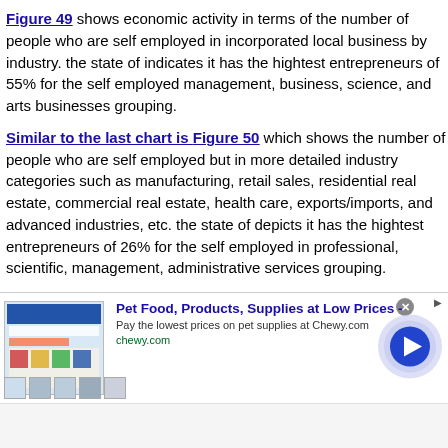Figure 49 shows economic activity in terms of the number of people who are self employed in incorporated local business by industry. the state of indicates it has the hightest entrepreneurs of 55% for the self employed management, business, science, and arts businesses grouping.
Similar to the last chart is Figure 50 which shows the number of people who are self employed but in more detailed industry categories such as manufacturing, retail sales, residential real estate, commercial real estate, health care, exports/imports, and advanced industries, etc. the state of depicts it has the hightest entrepreneurs of 26% for the self employed in professional, scientific, management, administrative services grouping.
[Figure (screenshot): Advertisement banner for Chewy.com: Pet Food, Products, Supplies at Low Prices]